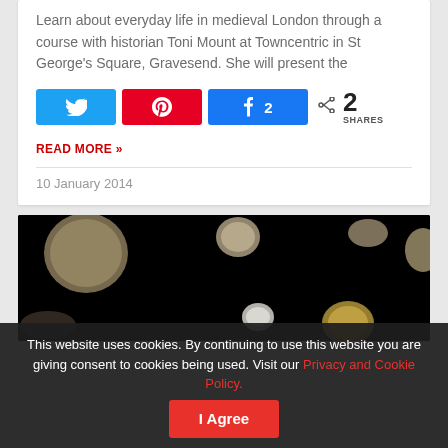Learn about everyday life in medieval London through a course with historian Toni Mount at Towncentric in St George's Square, Gravesend. She will present the
[Figure (screenshot): Social sharing buttons: Twitter (blue), Pinterest (red), Facebook (blue with number 2), and share icon with '2 SHARES' count]
READ MORE »
10 January 2014
[Figure (photo): Dark background with several coins of various sizes scattered, some silver and some gold-toned, photographed against black background]
This website uses cookies. By continuing to use this website you are giving consent to cookies being used. Visit our Privacy and Cookie Policy.